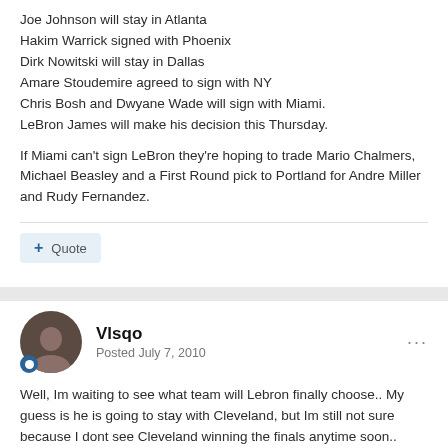Joe Johnson will stay in Atlanta
Hakim Warrick signed with Phoenix
Dirk Nowitski will stay in Dallas
Amare Stoudemire agreed to sign with NY
Chris Bosh and Dwyane Wade will sign with Miami.
LeBron James will make his decision this Thursday.
If Miami can't sign LeBron they're hoping to trade Mario Chalmers, Michael Beasley and a First Round pick to Portland for Andre Miller and Rudy Fernandez.
Vlsqo
Posted July 7, 2010
Well, Im waiting to see what team will Lebron finally choose.. My guess is he is going to stay with Cleveland, but Im still not sure because I dont see Cleveland winning the finals anytime soon..